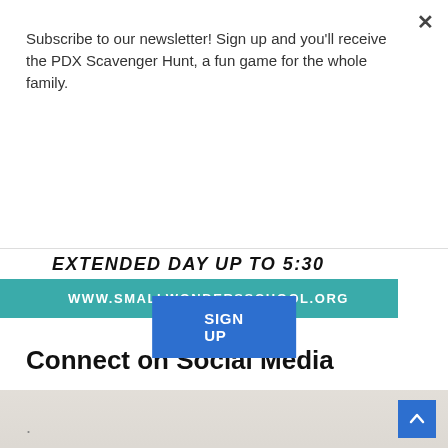Subscribe to our newsletter! Sign up and you'll receive the PDX Scavenger Hunt, a fun game for the whole family.
[Figure (screenshot): Blue 'SIGN UP' button for newsletter subscription]
EXTENDED DAY UP TO 5:30
WWW.SMALLWONDERSSCHOOL.ORG
Connect on Social Media
[Figure (infographic): Social media icons: Facebook (blue), Instagram (outline), Pinterest (red), Twitter (blue)]
[Figure (map): Footer area with map background and scroll-to-top button]